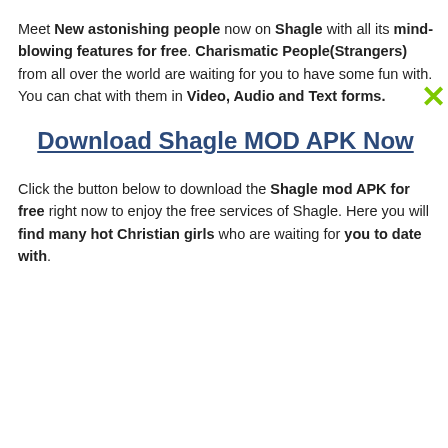Meet New astonishing people now on Shagle with all its mind-blowing features for free. Charismatic People(Strangers) from all over the world are waiting for you to have some fun with. You can chat with them in Video, Audio and Text forms.
Download Shagle MOD APK Now
Click the button below to download the Shagle mod APK for free right now to enjoy the free services of Shagle. Here you will find many hot Christian girls who are waiting for you to date with.